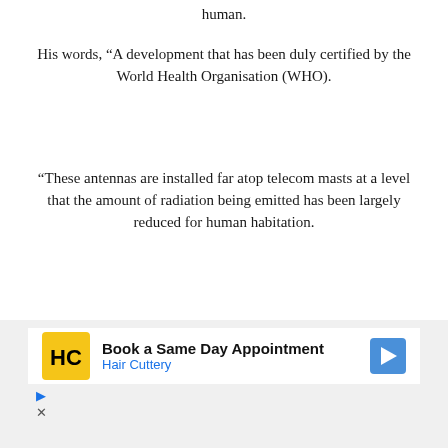human.
His words, “A development that has been duly certified by the World Health Organisation (WHO).
“These antennas are installed far atop telecom masts at a level that the amount of radiation being emitted has been largely reduced for human habitation.
“We are therefore using this opportunity to appeal to Nigerians to inculcate the habit of safeguarding telecom installations rather than being subjected to unnecessary vandalisation,” he
[Figure (other): Advertisement banner for Hair Cuttery: Book a Same Day Appointment with HC logo and navigation arrow icon]